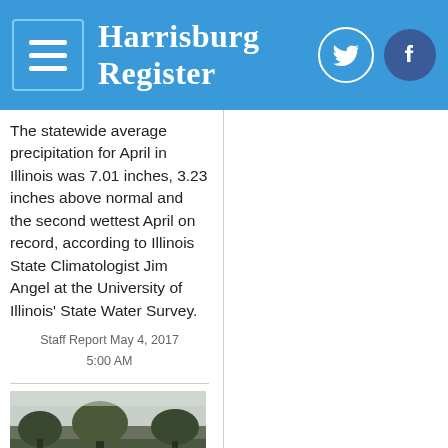Harrisburg Register
The statewide average precipitation for April in Illinois was 7.01 inches, 3.23 inches above normal and the second wettest April on record, according to Illinois State Climatologist Jim Angel at the University of Illinois' State Water Survey.
Staff Report May 4, 2017 5:00 AM
[Figure (photo): Outdoor photo showing trees against a pale/overcast sky, likely weather or rain related imagery]